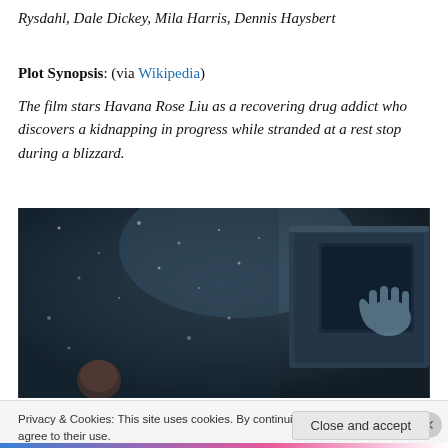Rysdahl, Dale Dickey, Mila Harris, Dennis Haysbert
Plot Synopsis: (via Wikipedia)
The film stars Havana Rose Liu as a recovering drug addict who discovers a kidnapping in progress while stranded at a rest stop during a blizzard.
[Figure (photo): A dark, stormy blizzard scene from a film. A person is dimly visible in the lower left, and a hand pressed against a vehicle window is visible on the right side, suggesting danger or a kidnapping.]
Privacy & Cookies: This site uses cookies. By continuing to use this website, you agree to their use. To find out more, including how to control cookies, see here: Cookie Policy